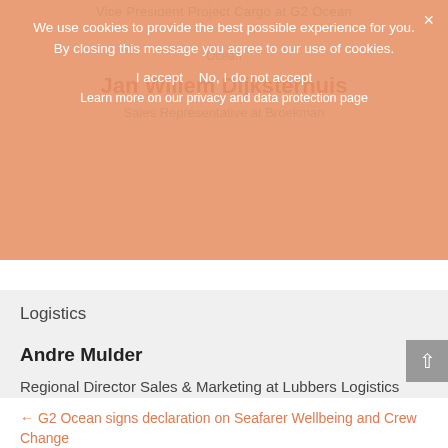Vice President Project Cargo at G2 Ocean
Jan Willem Dijksterhuis
Sales Representative at Broekman Logistics
We use cookies to provide the best possible experience for you. By closing this message you agree to our use of cookies.
I accept  No, I do not accept
Learn more on our privacy and data protection page
Logistics
Andre Mulder
Regional Director Sales & Marketing at Lubbers Logistics Group
Learn more about our project cargo services →
← G2 Ocean signs declaration on Seafarer Wellbeing and Crew Change